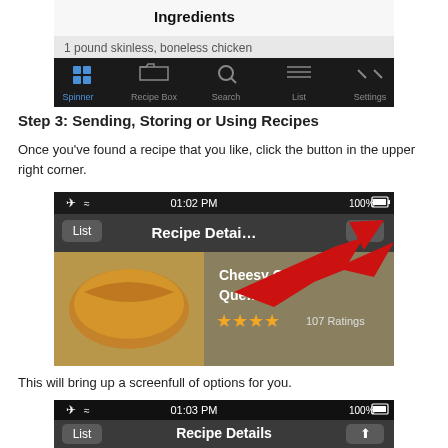[Figure (screenshot): iPhone app screenshot showing Ingredients screen with navigation bar at bottom: Spinner, Recipe Box, Search, List, Settings]
Step 3: Sending, Storing or Using Recipes
Once you've found a recipe that you like, click the button in the upper right corner.
[Figure (screenshot): iPhone app screenshot showing Recipe Details screen with Cheesy Chicken Quesadillas recipe, 107 Ratings, and a red arrow pointing to the share button in the upper right corner. Status bar shows 01:02 PM, 100%.]
This will bring up a screenfull of options for you.
[Figure (screenshot): iPhone app screenshot showing Recipe Details screen with Cheesy Chicken text visible at bottom. Status bar shows 01:03 PM, 100%.]